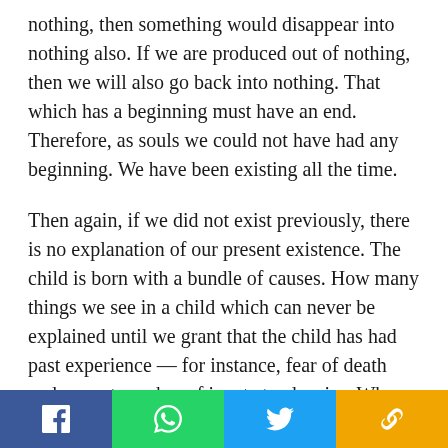nothing, then something would disappear into nothing also. If we are produced out of nothing, then we will also go back into nothing. That which has a beginning must have an end. Therefore, as souls we could not have had any beginning. We have been existing all the time.
Then again, if we did not exist previously, there is no explanation of our present existence. The child is born with a bundle of causes. How many things we see in a child which can never be explained until we grant that the child has had past experience — for instance, fear of death and a great number of innate tendencies. Who taught the baby to drink milk and to do so in a